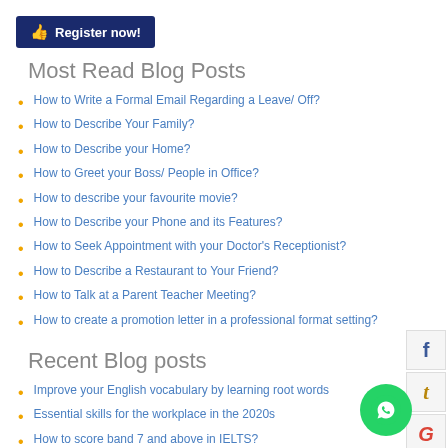[Figure (other): Register now button with thumbs up icon on dark blue background]
Most Read Blog Posts
How to Write a Formal Email Regarding a Leave/ Off?
How to Describe Your Family?
How to Describe your Home?
How to Greet your Boss/ People in Office?
How to describe your favourite movie?
How to Describe your Phone and its Features?
How to Seek Appointment with your Doctor's Receptionist?
How to Describe a Restaurant to Your Friend?
How to Talk at a Parent Teacher Meeting?
How to create a promotion letter in a professional format setting?
Recent Blog posts
Improve your English vocabulary by learning root words
Essential skills for the workplace in the 2020s
How to score band 7 and above in IELTS?
Voracious reading: The real secret to building a strong Vocabulary
5 English phrases to avoid in conversation and display greater social awareness